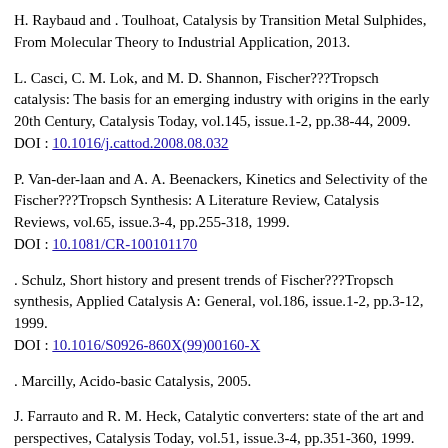H. Raybaud and . Toulhoat, Catalysis by Transition Metal Sulphides, From Molecular Theory to Industrial Application, 2013.
L. Casci, C. M. Lok, and M. D. Shannon, Fischer???Tropsch catalysis: The basis for an emerging industry with origins in the early 20th Century, Catalysis Today, vol.145, issue.1-2, pp.38-44, 2009.
DOI : 10.1016/j.cattod.2008.08.032
P. Van-der-laan and A. A. Beenackers, Kinetics and Selectivity of the Fischer???Tropsch Synthesis: A Literature Review, Catalysis Reviews, vol.65, issue.3-4, pp.255-318, 1999.
DOI : 10.1081/CR-100101170
. Schulz, Short history and present trends of Fischer???Tropsch synthesis, Applied Catalysis A: General, vol.186, issue.1-2, pp.3-12, 1999.
DOI : 10.1016/S0926-860X(99)00160-X
. Marcilly, Acido-basic Catalysis, 2005.
J. Farrauto and R. M. Heck, Catalytic converters: state of the art and perspectives, Catalysis Today, vol.51, issue.3-4, pp.351-360, 1999.
DOI : 10.1016/S0920-5861(99)00024-3